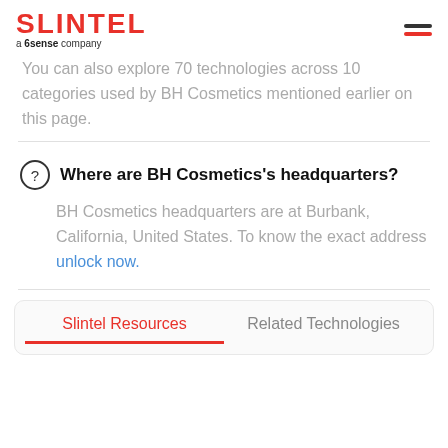SLINTEL a 6sense company
You can also explore 70 technologies across 10 categories used by BH Cosmetics mentioned earlier on this page.
Where are BH Cosmetics's headquarters?
BH Cosmetics headquarters are at Burbank, California, United States. To know the exact address unlock now.
Slintel Resources | Related Technologies